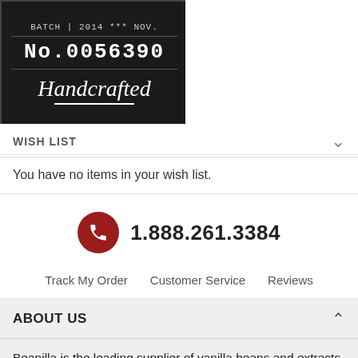[Figure (photo): Product label showing 'BATCH | 2014 *** NOV.' with 'No.0056390' and 'Handcrafted' in script font on a dark background]
WISH LIST
You have no items in your wish list.
1.888.261.3384
Track My Order   Customer Service   Reviews
ABOUT US
Beanilla is the leading supplier of vanilla beans and extracts in bulk to consumers online and in the food manufacturing, food service, food retail, craft brewing, and restaurant industries.
About Us >